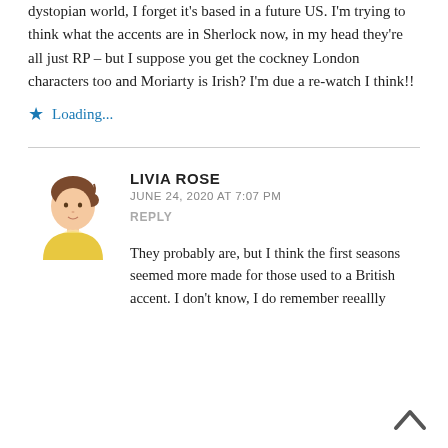dystopian world, I forget it's based in a future US. I'm trying to think what the accents are in Sherlock now, in my head they're all just RP – but I suppose you get the cockney London characters too and Moriarty is Irish? I'm due a re-watch I think!!
★ Loading...
LIVIA ROSE
JUNE 24, 2020 AT 7:07 PM
REPLY
They probably are, but I think the first seasons seemed more made for those used to a British accent. I don't know, I do remember reeallly